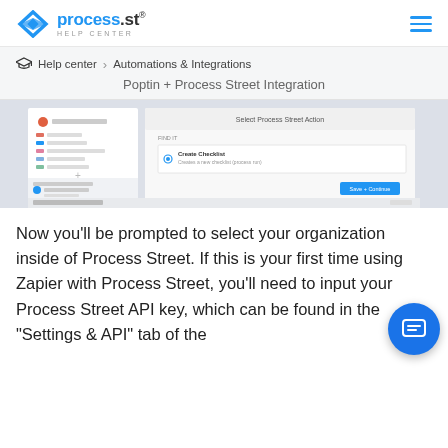process.st HELP CENTER
Help center > Automations & Integrations
Poptin + Process Street Integration
[Figure (screenshot): A Zapier interface screenshot showing 'Select Process Street Action' panel with 'Create Checklist' option selected and a 'Save + Continue' button.]
Now you'll be prompted to select your organization inside of Process Street. If this is your first time using Zapier with Process Street, you'll need to input your Process Street API key, which can be found in the "Settings & API" tab of the